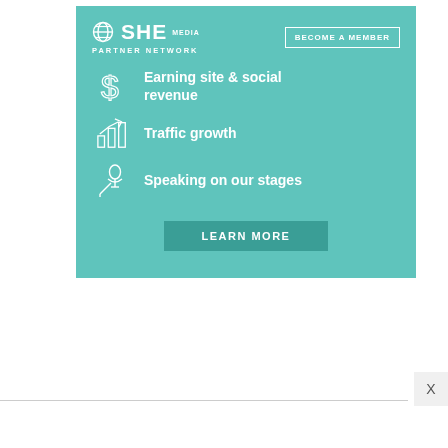[Figure (infographic): SHE Media Partner Network advertisement with teal background. Shows logo 'SHE MEDIA PARTNER NETWORK', 'BECOME A MEMBER' button, three feature items with icons: 'Earning site & social revenue' (dollar sign icon), 'Traffic growth' (bar chart icon), 'Speaking on our stages' (microphone icon), and a 'LEARN MORE' button.]
X